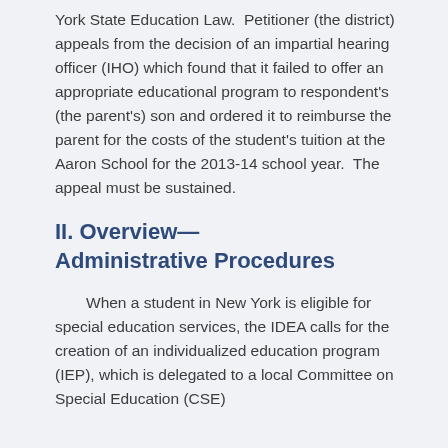York State Education Law.  Petitioner (the district) appeals from the decision of an impartial hearing officer (IHO) which found that it failed to offer an appropriate educational program to respondent's (the parent's) son and ordered it to reimburse the parent for the costs of the student's tuition at the Aaron School for the 2013-14 school year.  The appeal must be sustained.
II. Overview—Administrative Procedures
When a student in New York is eligible for special education services, the IDEA calls for the creation of an individualized education program (IEP), which is delegated to a local Committee on Special Education (CSE)